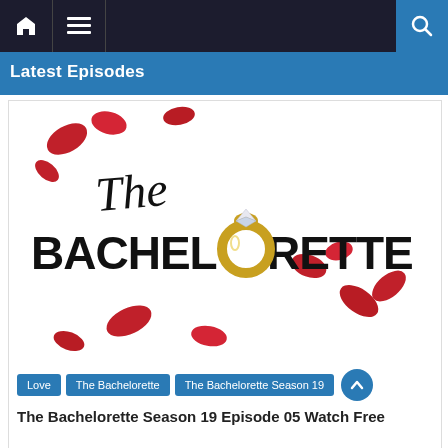Navigation bar with home, menu, and search icons
Latest Episodes
[Figure (illustration): The Bachelorette TV show logo with red rose petals scattered on white background and a gold engagement ring replacing the O in Bachelorette]
Love
The Bachelorette
The Bachelorette Season 19
The Bachelorette Season 19 Episode 05 Watch Free